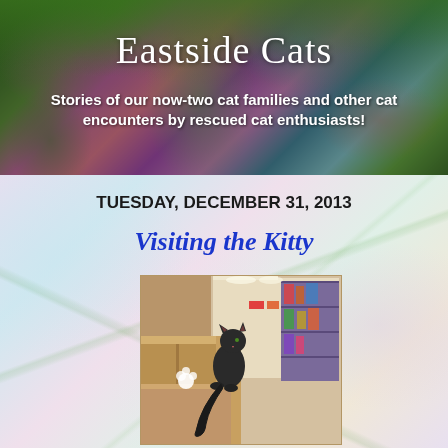Eastside Cats
Stories of our now-two cat families and other cat encounters by rescued cat enthusiasts!
TUESDAY, DECEMBER 31, 2013
Visiting the Kitty
[Figure (photo): A dark gray/black cat sitting on top of wooden box shelving units inside a pet store, looking upward toward shelves stocked with pet products]